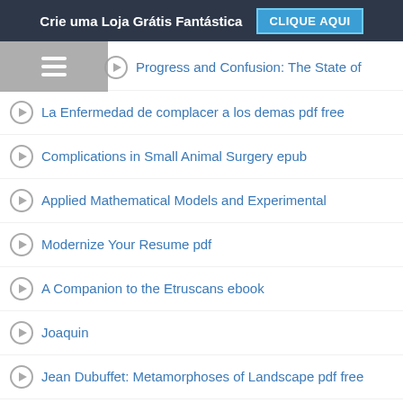Crie uma Loja Grátis Fantástica  CLIQUE AQUI
Progress and Confusion: The State of
La Enfermedad de complacer a los demas pdf free
Complications in Small Animal Surgery epub
Applied Mathematical Models and Experimental
Modernize Your Resume pdf
A Companion to the Etruscans ebook
Joaquin
Jean Dubuffet: Metamorphoses of Landscape pdf free
Primary FRCA in a Box, Second Edition epub
Roman Crete: New Perspectives epub
Mosby
Libros de Google: FRACASAMOS AL SOÑAR in Spanish